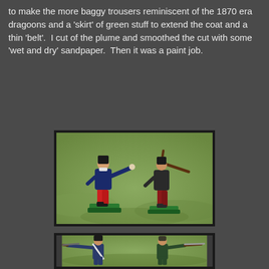to make the more baggy trousers reminiscent of the 1870 era dragoons and a 'skirt' of green stuff to extend the coat and a thin 'belt'.  I cut of the plume and smoothed the cut with some 'wet and dry' sandpaper.  Then it was a paint job.
[Figure (photo): Two painted miniature figurines standing on green bases on a grass-colored surface. Left figure wears red trousers and dark blue coat, right arm extended. Right figure wears dark coat with red lower garment, holding a rifle.]
[Figure (photo): Partial view of two more painted miniature figurines, cropped at bottom of page, both appearing to aim rifles, on a grass-colored surface.]